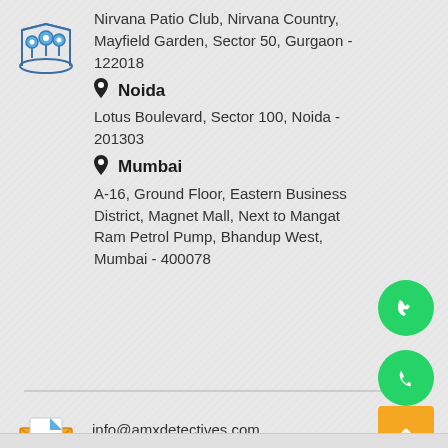[Figure (illustration): Map icon with three location pins on a map]
Nirvana Patio Club, Nirvana Country, Mayfield Garden, Sector 50, Gurgaon - 122018
Noida
Lotus Boulevard, Sector 100, Noida - 201303
Mumbai
A-16, Ground Floor, Eastern Business District, Magnet Mall, Next to Mangat Ram Petrol Pump, Bhandup West, Mumbai - 400078
[Figure (illustration): Email envelope icon with @ symbol]
info@amxdetectives.com
puribkumar@gmail.com
[Figure (illustration): WhatsApp green circle icon]
[Figure (illustration): Phone green circle icon]
[Figure (illustration): Orange scroll-to-top button with upward arrows]